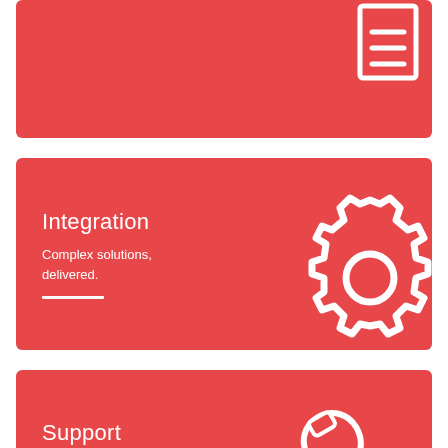[Figure (illustration): Red card with a white document/lines icon in the upper right corner]
Integration
Complex solutions, delivered.
[Figure (illustration): Red card with a white gear/cog icon on the right side]
Support
Its always about our customers.
[Figure (illustration): Red card with a white wrench and speech bubble icon on the right side]